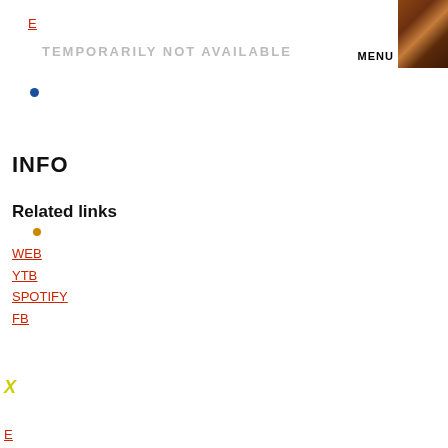E
TEMPORARILY NOT AVAILABLE
[Figure (photo): Small thumbnail photo of a dark reddish-brown scene, possibly a bar or restaurant interior]
MENU
•
INFO
Related links
•
WEB
YTB
SPOTIFY
FB
X
E